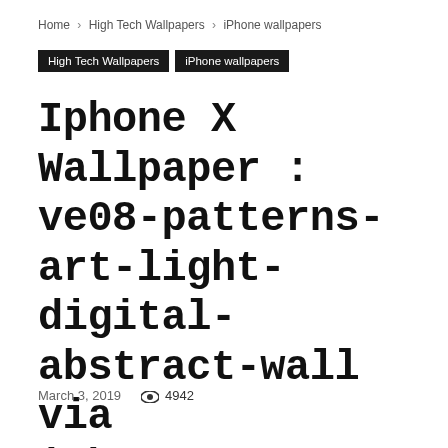Home › High Tech Wallpapers › iPhone wallpapers
High Tech Wallpapers   iPhone wallpapers
Iphone X Wallpaper : ve08-patterns-art-light-digital-abstract-wall via iPhoneXpapers.com – Wallpapers...
March 3, 2019    4942